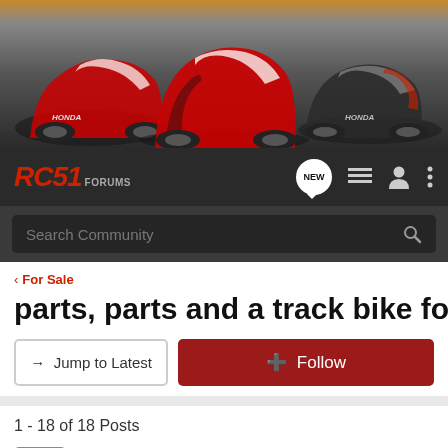[Figure (photo): Banner image showing three Honda RC51 motorcycles (red/white) against a grey background, with an orange/gold top edge]
RC51 FORUMS — navigation bar with NEW button, list icon, user icon, and more icon
Search Community
< For Sale
parts, parts and a track bike for sale
→ Jump to Latest
+ Follow
1 - 18 of 18 Posts
planetsalhus · Registered 🇺🇸
Joined Apr 25, 2021 · 5 Posts